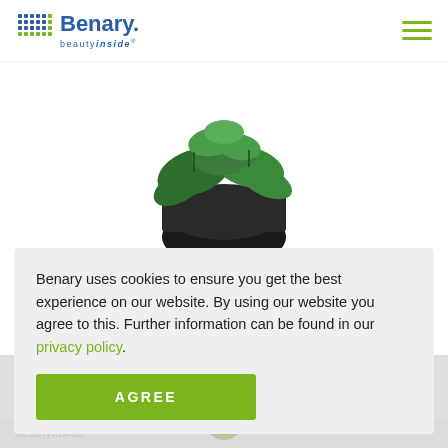Benary beautyinside
[Figure (photo): Plant in a dark pot photographed from above, with green leaves visible, displayed on a white background]
Deep Blue
H1010/D
Benary uses cookies to ensure you get the best experience on our website. By using our website you agree to this. Further information can be found in our privacy policy.
AGREE
beautyinside